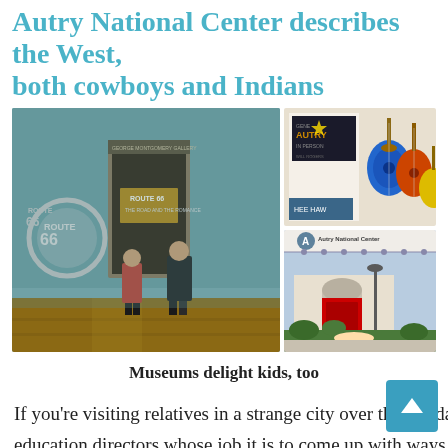Autry National Center describes the West, both cowboys and Indians
[Figure (photo): Interior of Autry National Center showing Route 66 exhibit with two children standing near a large Route 66 sign and a hallway leading to exhibition rooms]
[Figure (photo): Display posters and colorful guitars at the Autry National Center, showing Gene Autry promotional material and musical instruments]
[Figure (photo): Exterior of Autry National Center building showing the entrance with signage and landscaping]
Museums delight kids, too
If you're visiting relatives in a strange city over the holidays, take advantage of the local museums. Most hire family education directors whose job it is to come up with ways to entertain you and your children while